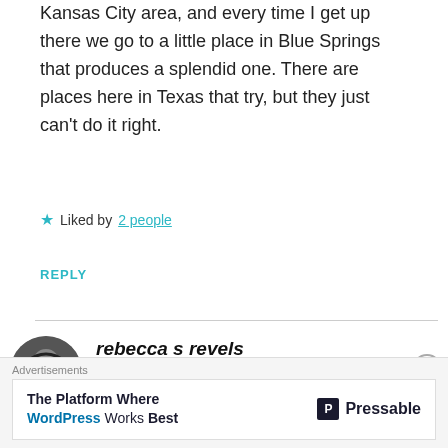Kansas City area, and every time I get up there we go to a little place in Blue Springs that produces a splendid one. There are places here in Texas that try, but they just can't do it right.
Liked by 2 people
REPLY
rebecca s revels
MAY 16, 2021 AT 8:33 PM
Sounds like y'all had well deserved fun
Advertisements
The Platform Where WordPress Works Best | Pressable